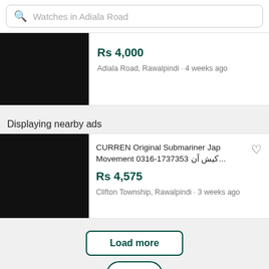Watches in Adiala Road
Rs 4,000
Adiala Road, Rawalpindi · 4 weeks ago
Displaying nearby ads
CURREN Original Submariner Jap Movement 0316-1737353 کیش آن...
Rs 4,575
Clifton Township, Rawalpindi · 3 weeks ago
Load more
+ SELL